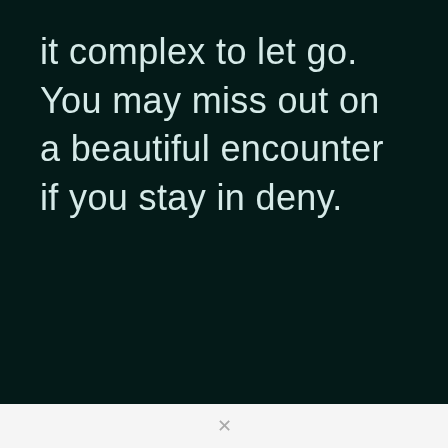it complex to let go. You may miss out on a beautiful encounter if you stay in deny.
×